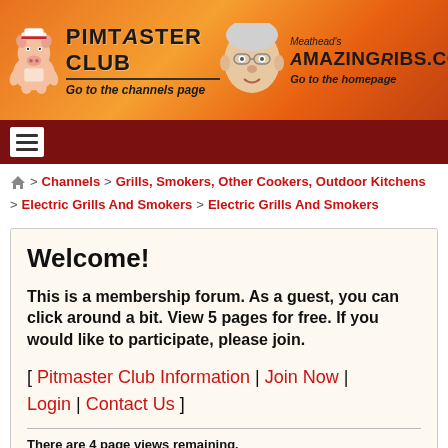[Figure (logo): Pitmaster Club and AmazingRibs.com header banner with orange flame background, cartoon pig logo on left, Meathead face on right]
≡ (hamburger menu icon on dark red navigation bar)
🏠 > Channels > Grills, Smokers, Other Cookers, Outdoor Kitchens > Electric Grills And Smokers > Electric Grills And Smokers
Welcome!
This is a membership forum. As a guest, you can click around a bit. View 5 pages for free. If you would like to participate, please join.
[ Pitmaster Club Information | Join Now | Login | Contact Us ]
There are 4 page views remaining.